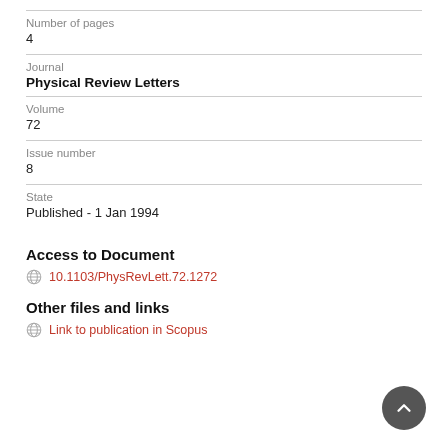Number of pages
4
Journal
Physical Review Letters
Volume
72
Issue number
8
State
Published - 1 Jan 1994
Access to Document
10.1103/PhysRevLett.72.1272
Other files and links
Link to publication in Scopus